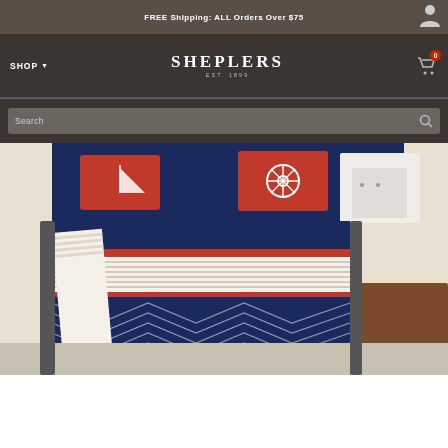FREE Shipping: ALL Orders Over $75
[Figure (logo): Sheplers logo with EST. 1899 tagline, white text on dark brown nav bar]
[Figure (photo): Nautical themed bedding set on a bed with navy blue, red, and white stripes, decorative pillows with sailboat and ship wheel motifs]